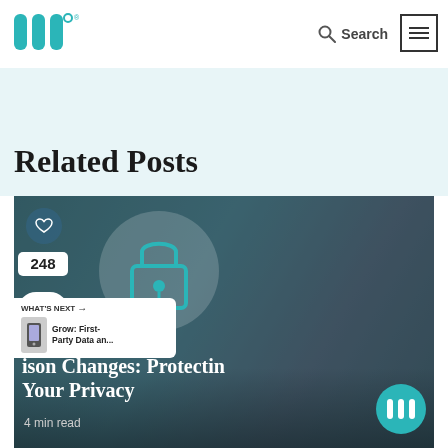[Figure (logo): Triple W (three vertical bars with a small circle/degree symbol) teal logo with registered trademark, top left]
Search  ☰
Related Posts
[Figure (photo): Blog post card image: person typing on laptop with teal background overlay, padlock icon circle overlay, heart/share buttons on left, category tag '...vertising', title '...ison Changes: Protecting Your Privacy', '4 min read', teal logo circle bottom right, 'WHAT'S NEXT' banner bottom left]
...ison Changes: Protecting Your Privacy
4 min read